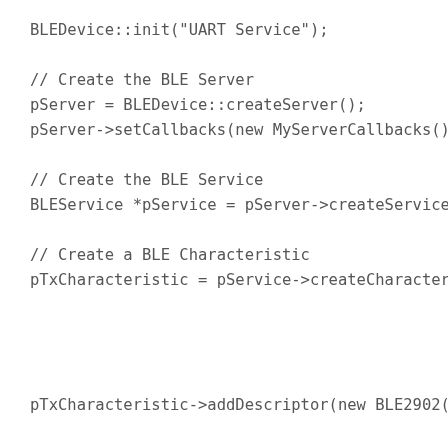BLEDevice::init("UART Service");

// Create the BLE Server
pServer = BLEDevice::createServer();
pServer->setCallbacks(new MyServerCallbacks());

// Create the BLE Service
BLEService *pService = pServer->createService(SERV

// Create a BLE Characteristic
pTxCharacteristic = pService->createCharacteristic




pTxCharacteristic->addDescriptor(new BLE2902());

BLECharacteristic * pRxCharacteristic = pService->